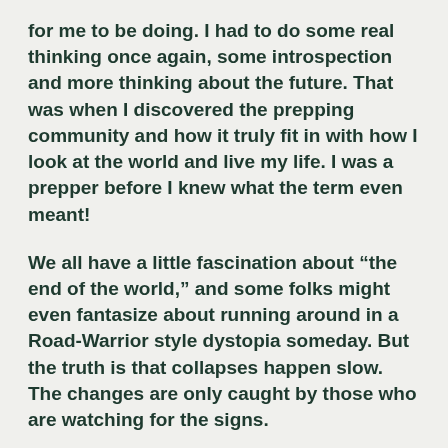for me to be doing. I had to do some real thinking once again, some introspection and more thinking about the future. That was when I discovered the prepping community and how it truly fit in with how I look at the world and live my life. I was a prepper before I knew what the term even meant!
We all have a little fascination about “the end of the world,” and some folks might even fantasize about running around in a Road-Warrior style dystopia someday. But the truth is that collapses happen slow. The changes are only caught by those who are watching for the signs.
A prepper is someone who has that keen eye, and I’m proud to call myself a prepper. I consider myself a prepper because I’ve been simply observing and preparing. And I built every single